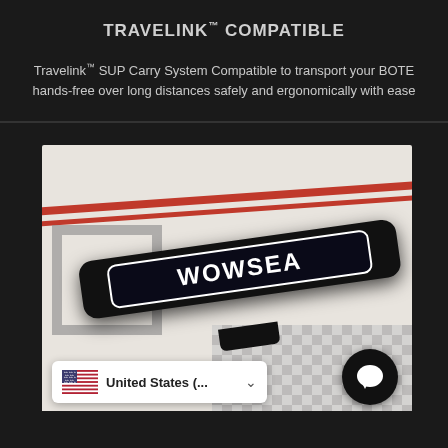TRAVELINK™ COMPATIBLE
Travelink™ SUP Carry System Compatible to transport your BOTE hands-free over long distances safely and ergonomically with ease
[Figure (photo): Photo of a black WOWSEA branded carry strap on a white/gray patterned background with red stripes. The strap has a rounded rectangular label with white text reading WOWSEA.]
United States (...